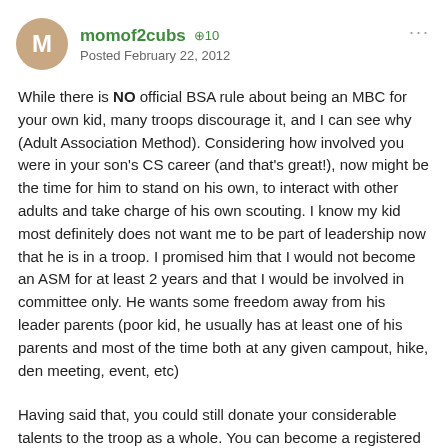momof2cubs +10 Posted February 22, 2012
While there is NO official BSA rule about being an MBC for your own kid, many troops discourage it, and I can see why (Adult Association Method). Considering how involved you were in your son's CS career (and that's great!), now might be the time for him to stand on his own, to interact with other adults and take charge of his own scouting. I know my kid most definitely does not want me to be part of leadership now that he is in a troop. I promised him that I would not become an ASM for at least 2 years and that I would be involved in committee only. He wants some freedom away from his leader parents (poor kid, he usually has at least one of his parents and most of the time both at any given campout, hike, den meeting, event, etc)
Having said that, you could still donate your considerable talents to the troop as a whole. You can become a registered MBC for any MB you feel you have enough knowledge on. I would strongly encourage your son to do his MBs with someone other than...